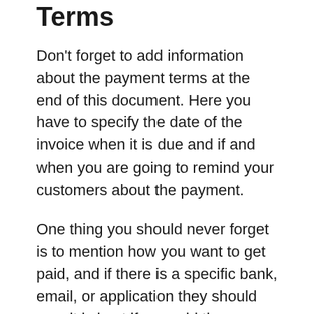Terms
Don't forget to add information about the payment terms at the end of this document. Here you have to specify the date of the invoice when it is due and if and when you are going to remind your customers about the payment.
One thing you should never forget is to mention how you want to get paid, and if there is a specific bank, email, or application they should use, it is best if you add the account details in the terms. The bank details are a must, so don't forget to specify the bank name in this document.
These are the most important things you should keep in mind to mention as far as the...